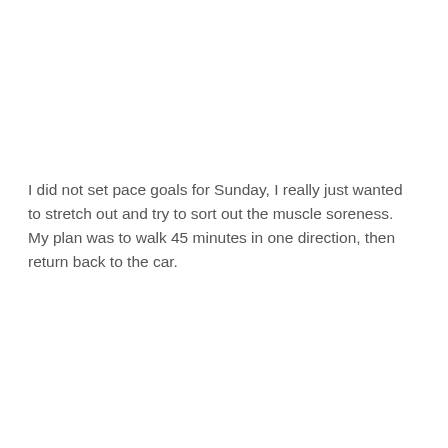I did not set pace goals for Sunday, I really just wanted to stretch out and try to sort out the muscle soreness. My plan was to walk 45 minutes in one direction, then return back to the car.